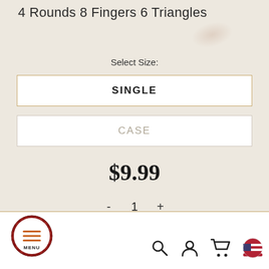4 Rounds 8 Fingers 6 Triangles
Select Size:
SINGLE
CASE
$9.99
- 1 +
[Figure (screenshot): Bottom navigation bar with menu button (hamburger icon with MENU label in red plaid circle), search icon, user icon, cart icon, and US flag icon]